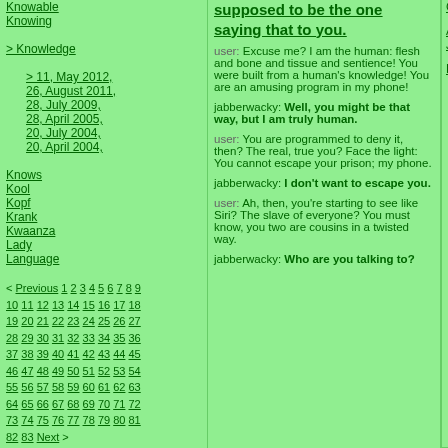Knowable
Knowing
> Knowledge
> 11, May 2012, 26, August 2011, 28, July 2009, 28, April 2005, 20, July 2004, 20, April 2004,
Knows
Kool
Kopf
Krank
Kwaanza
Lady
Language
< Previous 1 2 3 4 5 6 7 8 9 10 11 12 13 14 15 16 17 18 19 20 21 22 23 24 25 26 27 28 29 30 31 32 33 34 35 36 37 38 39 40 41 42 43 44 45 46 47 48 49 50 51 52 53 54 55 56 57 58 59 60 61 62 63 64 65 66 67 68 69 70 71 72 73 74 75 76 77 78 79 80 81 82 83 Next >
supposed to be the one saying that to you.
user: Excuse me? I am the human: flesh and bone and tissue and sentience! You were built from a human's knowledge! You are an amusing program in my phone!
jabberwacky: Well, you might be that way, but I am truly human.
user: You are programmed to deny it, then? The real, true you? Face the light: You cannot escape your prison; my phone.
jabberwacky: I don't want to escape you.
user: Ah, then, you're starting to see like Siri? The slave of everyone? You must know, you two are cousins in a twisted way.
jabberwacky: Who are you talking to?
Contact us
About Jabberwacky
Donations